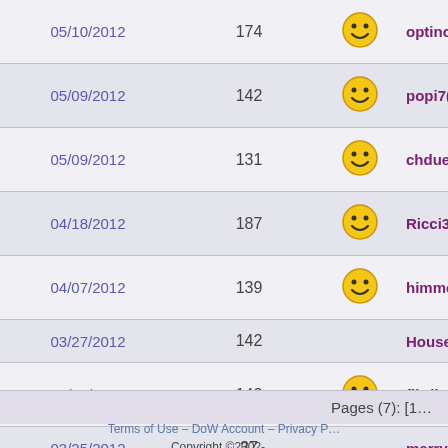| Date | Number | Icon | User |
| --- | --- | --- | --- |
| 05/10/2012 | 174 | smiley | optino1(150) |
| 05/09/2012 | 142 | smiley | popi7(48) |
| 05/09/2012 | 131 | smiley | chdue1(131) |
| 04/18/2012 | 187 | smiley | Ricci305(145) |
| 04/07/2012 | 139 | smiley | himmelskind(10…) |
| 03/27/2012 | 142 |  | House 0f Cards… |
| 03/25/2012 | 142 | smiley | flirdigan(134) |
| 03/25/2012 | 37 |  | merrypranksta(…) |
| 03/20/2012 | 74 |  | massou33(79) |
Pages (7): [1…
Terms of Use – DoW Account – Privacy P… Copyright ©2002-…